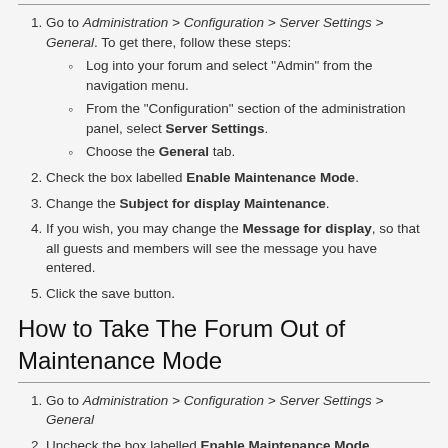Go to Administration > Configuration > Server Settings > General. To get there, follow these steps:
Log into your forum and select "Admin" from the navigation menu.
From the "Configuration" section of the administration panel, select Server Settings.
Choose the General tab.
Check the box labelled Enable Maintenance Mode.
Change the Subject for display Maintenance.
If you wish, you may change the Message for display, so that all guests and members will see the message you have entered.
Click the save button.
How to Take The Forum Out of Maintenance Mode
Go to Administration > Configuration > Server Settings > General
Uncheck the box labelled Enable Maintenance Mode
Click the save button